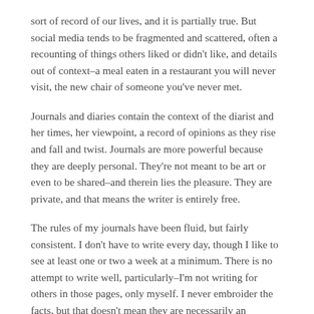sort of record of our lives, and it is partially true. But social media tends to be fragmented and scattered, often a recounting of things others liked or didn't like, and details out of context–a meal eaten in a restaurant you will never visit, the new chair of someone you've never met.
Journals and diaries contain the context of the diarist and her times, her viewpoint, a record of opinions as they rise and fall and twist. Journals are more powerful because they are deeply personal. They're not meant to be art or even to be shared–and therein lies the pleasure. They are private, and that means the writer is entirely free.
The rules of my journals have been fluid, but fairly consistent. I don't have to write every day, though I like to see at least one or two a week at a minimum. There is no attempt to write well, particularly–I'm not writing for others in those pages, only myself. I never embroider the facts, but that doesn't mean they are necessarily an accurate record. I only have my own viewpoint, after all. I can only write my own interpretation of events. We've had to be aware, in our writing of Fierce Artifice, of the fact of Pepys' crush on Barbara Villiers. It colors every paragraph he writes about her. He also hears a